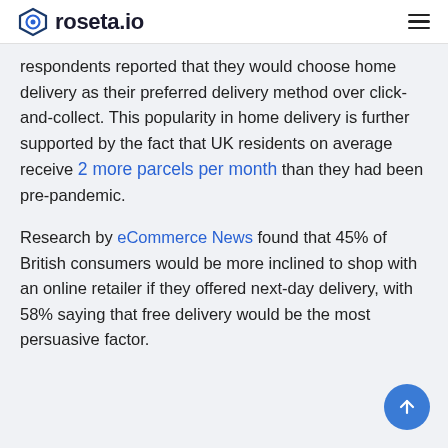roseta.io
respondents reported that they would choose home delivery as their preferred delivery method over click-and-collect. This popularity in home delivery is further supported by the fact that UK residents on average receive 2 more parcels per month than they had been pre-pandemic.
Research by eCommerce News found that 45% of British consumers would be more inclined to shop with an online retailer if they offered next-day delivery, with 58% saying that free delivery would be the most persuasive factor.